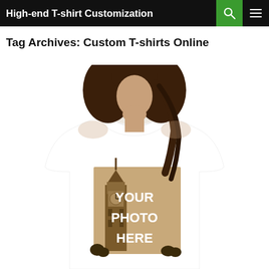High-end T-shirt Customization
Tag Archives: Custom T-shirts Online
[Figure (photo): A woman wearing a white t-shirt with a custom photo print showing Big Ben in sepia tone with text 'YOUR PHOTO HERE' overlaid in white bold letters]